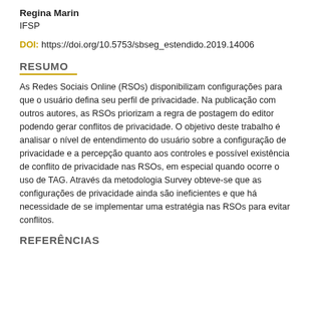Regina Marin
IFSP
DOI: https://doi.org/10.5753/sbseg_estendido.2019.14006
RESUMO
As Redes Sociais Online (RSOs) disponibilizam configurações para que o usuário defina seu perfil de privacidade. Na publicação com outros autores, as RSOs priorizam a regra de postagem do editor podendo gerar conflitos de privacidade. O objetivo deste trabalho é analisar o nível de entendimento do usuário sobre a configuração de privacidade e a percepção quanto aos controles e possível existência de conflito de privacidade nas RSOs, em especial quando ocorre o uso de TAG. Através da metodologia Survey obteve-se que as configurações de privacidade ainda são ineficientes e que há necessidade de se implementar uma estratégia nas RSOs para evitar conflitos.
REFERÊNCIAS